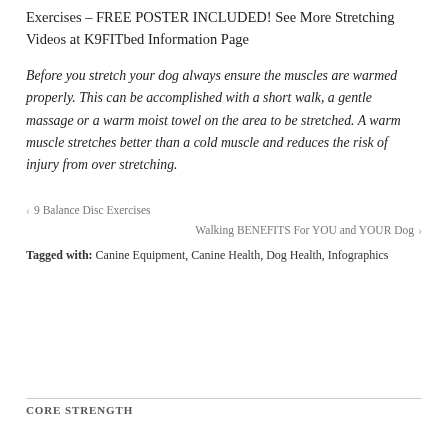Exercises – FREE POSTER INCLUDED! See More Stretching Videos at K9FITbed Information Page
Before you stretch your dog always ensure the muscles are warmed properly. This can be accomplished with a short walk, a gentle massage or a warm moist towel on the area to be stretched. A warm muscle stretches better than a cold muscle and reduces the risk of injury from over stretching.
‹ 9 Balance Disc Exercises
Walking BENEFITS For YOU and YOUR Dog ›
Tagged with: Canine Equipment, Canine Health, Dog Health, Infographics
CORE STRENGTH